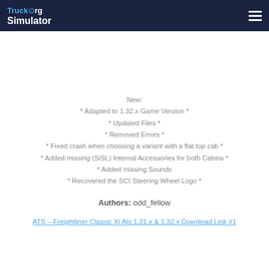TruckOrg Simulator
New:
* Adapted to 1.32.x Game Version *
* Updated Files *
* Removed Errors *
* Fixed crash when choosing a variant with a flat top cab *
* Added missing (SiSL) Internal Accessories for both Cabins *
* Added missing Sounds
* Recovered the SCI Steering Wheel Logo *
Authors: odd_fellow
ATS – Freightliner Classic Xl Ats 1.31.x & 1.32.x Download Link #1